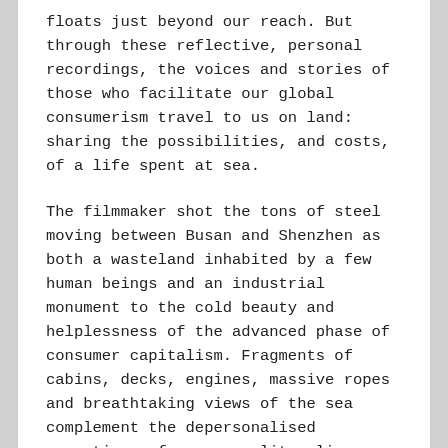floats just beyond our reach. But through these reflective, personal recordings, the voices and stories of those who facilitate our global consumerism travel to us on land: sharing the possibilities, and costs, of a life spent at sea.
The filmmaker shot the tons of steel moving between Busan and Shenzhen as both a wasteland inhabited by a few human beings and an industrial monument to the cold beauty and helplessness of the advanced phase of consumer capitalism. Fragments of cabins, decks, engines, massive ropes and breathtaking views of the sea complement the depersonalised narratives of a cosmopolitan line-up of employees of the world's largest transport corporations.